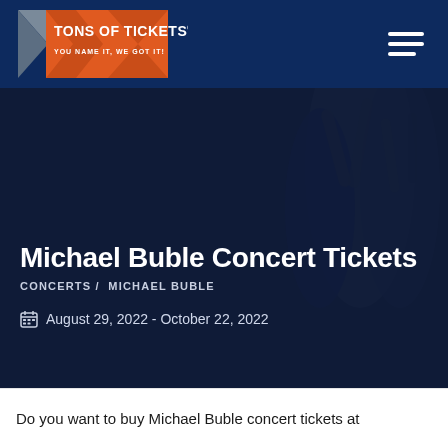[Figure (logo): Tons of Tickets logo with orange and grey X shape and text 'TONS OF TICKETS® YOU NAME IT, WE GOT IT!' on dark navy background header]
[Figure (photo): Dark hero image with concert crowd silhouettes raising hands, heavily darkened overlay in navy blue tones]
Michael Buble Concert Tickets
CONCERTS / MICHAEL BUBLE
August 29, 2022 - October 22, 2022
Do you want to buy Michael Buble concert tickets at